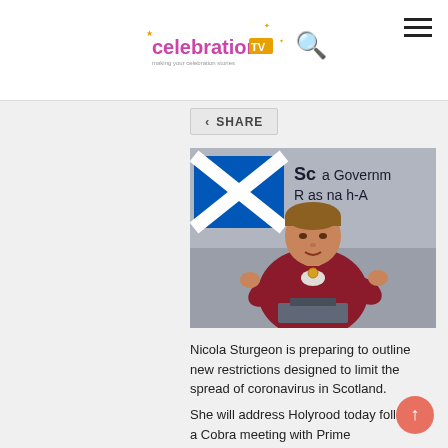celebration TV — navigation header with logo, search icon, hamburger menu
SHARE
[Figure (photo): Nicola Sturgeon speaking at a podium in front of a Scottish Government background banner showing the Scottish flag (Saltire). She is wearing a dark red/maroon blazer and gesturing with both hands.]
Nicola Sturgeon is preparing to outline new restrictions designed to limit the spread of coronavirus in Scotland.
She will address Holyrood today following a Cobra meeting with Prime